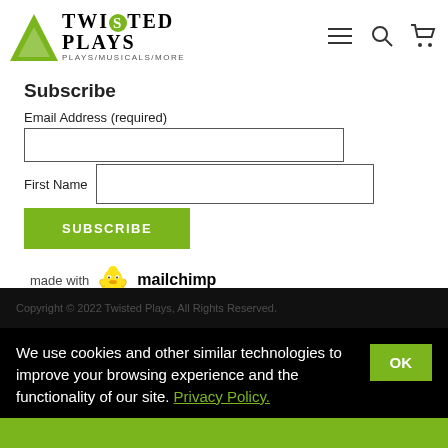[Figure (logo): Twisted Plays logo with green triangle and stylized text 'TWISTED PLAYS / PLAYS/MUSICALS/MORE']
Subscribe
Email Address (required)
First Name
SUBSCRIBE
[Figure (logo): Made with Mailchimp logo]
Copyright © 2022 Twisted Plays, All Rights Reserved.
We use cookies and other similar technologies to improve your browsing experience and the functionality of our site. Privacy Policy.